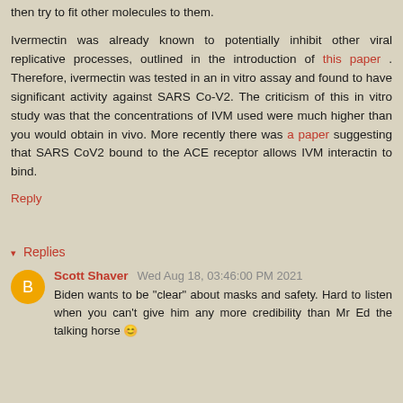then try to fit other molecules to them.

Ivermectin was already known to potentially inhibit other viral replicative processes, outlined in the introduction of this paper . Therefore, ivermectin was tested in an in vitro assay and found to have significant activity against SARS Co-V2. The criticism of this in vitro study was that the concentrations of IVM used were much higher than you would obtain in vivo. More recently there was a paper suggesting that SARS CoV2 bound to the ACE receptor allows IVM interactin to bind.
Reply
▾ Replies
Scott Shaver Wed Aug 18, 03:46:00 PM 2021
Biden wants to be "clear" about masks and safety. Hard to listen when you can't give him any more credibility than Mr Ed the talking horse 😊